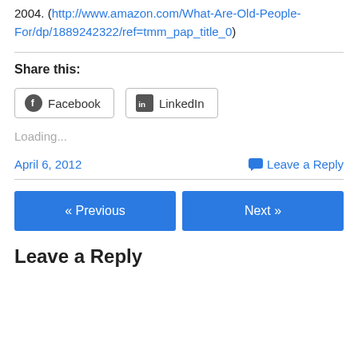2004. (http://www.amazon.com/What-Are-Old-People-For/dp/1889242322/ref=tmm_pap_title_0)
Share this:
Facebook  LinkedIn
Loading...
April 6, 2012    Leave a Reply
« Previous   Next »
Leave a Reply